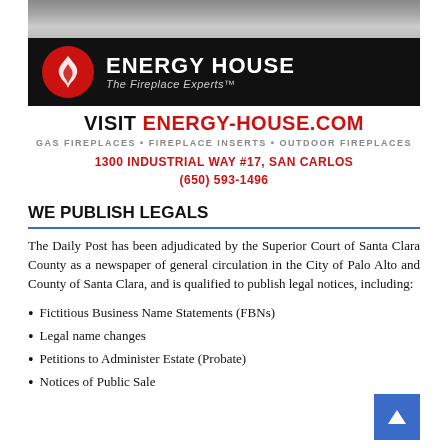[Figure (logo): Energy House - The Fireplace Experts advertisement with logo, website URL, product categories, and address]
WE PUBLISH LEGALS
The Daily Post has been adjudicated by the Superior Court of Santa Clara County as a newspaper of general circulation in the City of Palo Alto and County of Santa Clara, and is qualified to publish legal notices, including:
Fictitious Business Name Statements (FBNs)
Legal name changes
Petitions to Administer Estate (Probate)
Notices of Public Sale